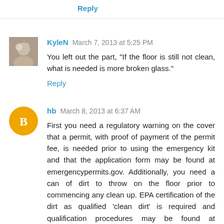Reply
KyleN March 7, 2013 at 5:25 PM
You left out the part, "If the floor is still not clean, what is needed is more broken glass."
Reply
hb March 8, 2013 at 6:37 AM
First you need a regulatory warning on the cover that a permit, with proof of payment of the permit fee, is needed prior to using the emergency kit and that the application form may be found at emergencypermits.gov. Additionally, you need a can of dirt to throw on the floor prior to commencing any clean up. EPA certification of the dirt as qualified 'clean dirt' is required and qualification procedures may be found at epa/emergency permits/cleandirtpermitting process.gov. Lastly, be aware that Department of Labor standards will apply to all personnel and procedures who use or may use said emergency kit. DoL standards have